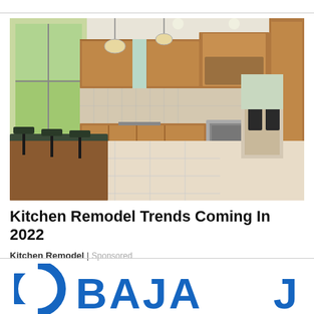[Figure (photo): Interior photo of a modern kitchen with dark granite island countertop, wooden cabinetry, bar stools, stainless steel appliances, pendant lighting, and tile flooring. Windows let in natural light.]
Kitchen Remodel Trends Coming In 2022
Kitchen Remodel | Sponsored
[Figure (logo): Partial Bajaj logo - blue circle/arc shape on the left and blue text reading 'BAJAJ' partially visible along the bottom of the page]